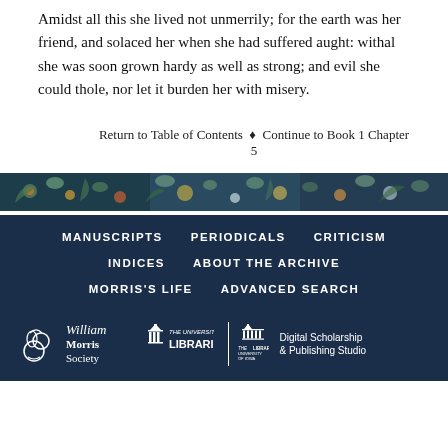Amidst all this she lived not unmerrily; for the earth was her friend, and solaced her when she had suffered aught: withal she was soon grown hardy as well as strong; and evil she could thole, nor let it burden her with misery.
Return to Table of Contents ♦ Continue to Book 1 Chapter 5
[Figure (illustration): Decorative floral band with dark blue/teal background and colorful flower and leaf motifs]
MANUSCRIPTS   PERIODICALS   CRITICISM   INDICES   ABOUT THE ARCHIVE   MORRIS'S LIFE   ADVANCED SEARCH
[Figure (logo): William Morris Society logo, The University of Iowa Libraries logo, and The University of Iowa Libraries Digital Scholarship & Publishing Studio logo]